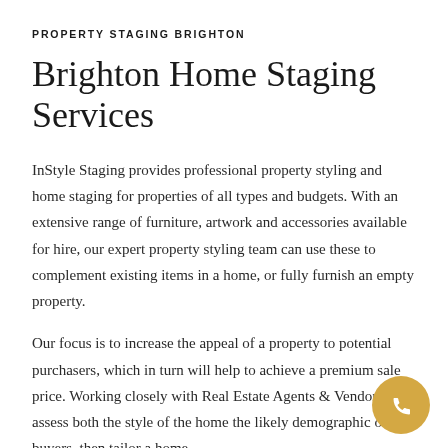PROPERTY STAGING BRIGHTON
Brighton Home Staging Services
InStyle Staging provides professional property styling and home staging for properties of all types and budgets. With an extensive range of furniture, artwork and accessories available for hire, our expert property styling team can use these to complement existing items in a home, or fully furnish an empty property.
Our focus is to increase the appeal of a property to potential purchasers, which in turn will help to achieve a premium sale price. Working closely with Real Estate Agents & Vendors we assess both the style of the home the likely demographic of the buyers, then tailor a home